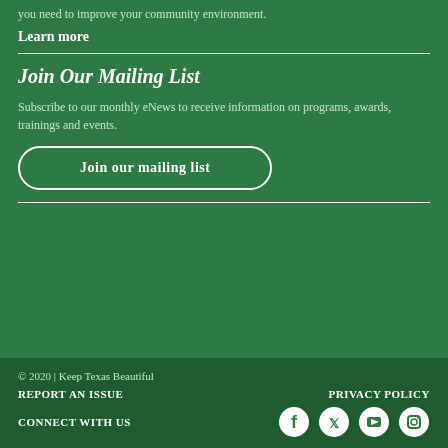you need to improve your community environment.
Learn more
Join Our Mailing List
Subscribe to our monthly eNews to receive information on programs, awards, trainings and events.
Join our mailing list
© 2020 | Keep Texas Beautiful
REPORT AN ISSUE
PRIVACY POLICY
CONNECT WITH US